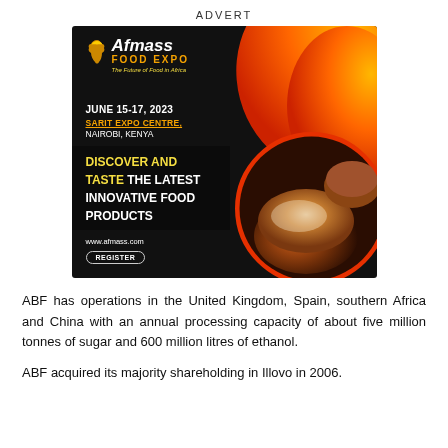ADVERT
[Figure (illustration): Afmass Food Expo advertisement. Black background with orange/red decorative shape top-right. Logo with Africa map icon, 'Afmass' in white italic, 'FOOD EXPO' in orange, tagline 'The Future of Food in Africa'. Date: JUNE 15-17, 2023. Venue: SARIT EXPO CENTRE, NAIROBI, KENYA. Bold text: 'DISCOVER AND TASTE THE LATEST INNOVATIVE FOOD PRODUCTS'. Website: www.afmass.com. Register button. Circular image of artisan bread loaves bottom-right.]
ABF has operations in the United Kingdom, Spain, southern Africa and China with an annual processing capacity of about five million tonnes of sugar and 600 million litres of ethanol.
ABF acquired its majority shareholding in Illovo in 2006.